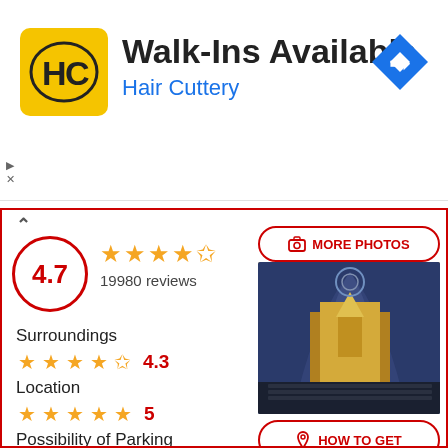[Figure (screenshot): Hair Cuttery advertisement banner with yellow HC logo, 'Walk-Ins Available' title, 'Hair Cuttery' subtitle, and blue navigation arrow icon]
4.7
19980 reviews
Surroundings 4.3
Location 5
Possibility of Parking 4.1
Wifi 5
Services nearby 4.5
[Figure (photo): Interior of an ornate cathedral with golden altar and blue vaulted ceiling]
MORE PHOTOS
HOW TO GET
TO CALL
WHATSAPP
WEB PAGE